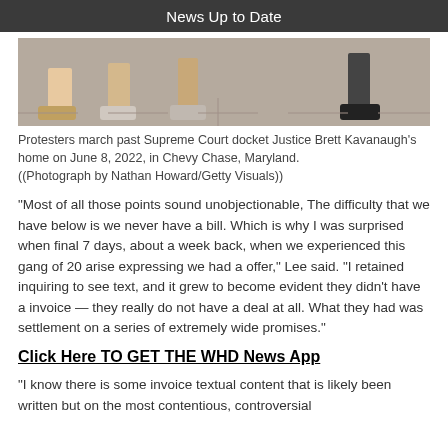News Up to Date
[Figure (photo): Feet and lower legs of protesters marching on a sidewalk, viewed from ground level.]
Protesters march past Supreme Court docket Justice Brett Kavanaugh's home on June 8, 2022, in Chevy Chase, Maryland.
((Photograph by Nathan Howard/Getty Visuals))
“Most of all those points sound unobjectionable, The difficulty that we have below is we never have a bill. Which is why I was surprised when final 7 days, about a week back, when we experienced this gang of 20 arise expressing we had a offer,” Lee said. “I retained inquiring to see text, and it grew to become evident they didn’t have a invoice — they really do not have a deal at all. What they had was settlement on a series of extremely wide promises.”
Click Here TO GET THE WHD News App
“I know there is some invoice textual content that is likely been written but on the most contentious, controversial